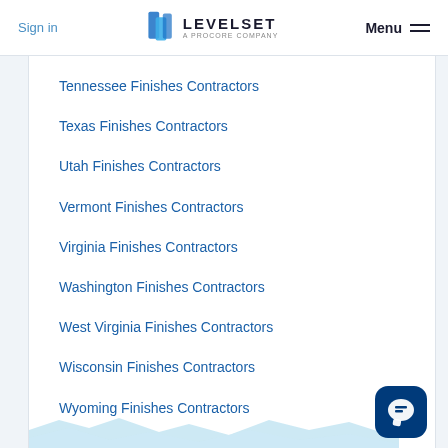Sign in | LEVELSET A PROCORE COMPANY | Menu
Tennessee Finishes Contractors
Texas Finishes Contractors
Utah Finishes Contractors
Vermont Finishes Contractors
Virginia Finishes Contractors
Washington Finishes Contractors
West Virginia Finishes Contractors
Wisconsin Finishes Contractors
Wyoming Finishes Contractors
[Figure (illustration): Light blue decorative construction/building silhouette image at bottom of page, and a chat support button icon in bottom right corner.]